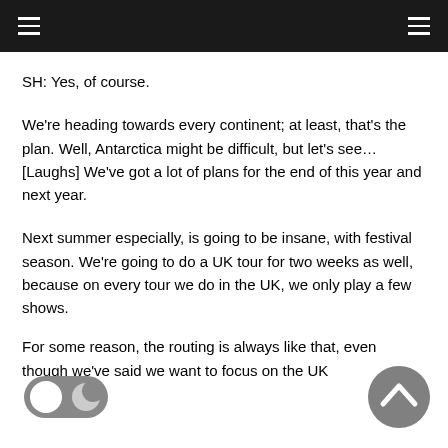SH: Yes, of course.
We're heading towards every continent; at least, that's the plan. Well, Antarctica might be difficult, but let's see… [Laughs] We've got a lot of plans for the end of this year and next year.
Next summer especially, is going to be insane, with festival season. We're going to do a UK tour for two weeks as well, because on every tour we do in the UK, we only play a few shows.
For some reason, the routing is always like that, even though we've said we want to focus on the UK